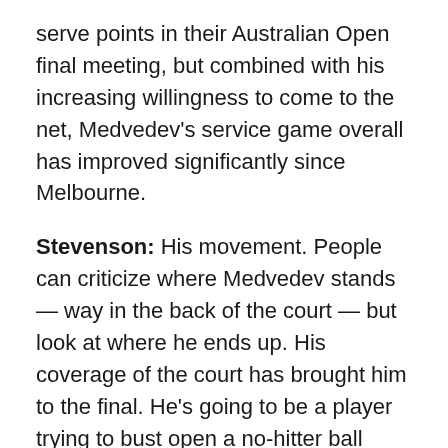serve points in their Australian Open final meeting, but combined with his increasing willingness to come to the net, Medvedev's service game overall has improved significantly since Melbourne.
Stevenson: His movement. People can criticize where Medvedev stands — way in the back of the court — but look at where he ends up. His coverage of the court has brought him to the final. He's going to be a player trying to bust open a no-hitter ball game, only this time, it's the calendar-year Grand Slam.
Stubbs: Believing in himself and his ability to play on hard court. Because his game transfers so well to this surface, I think he now believes he belongs in the final.
Kumar: While all eyes were on Djokovic, and then the